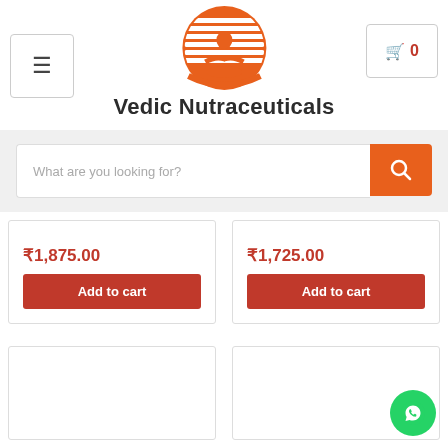[Figure (logo): Vedic Nutraceuticals logo: orange circle with meditating figure silhouette and horizontal lines]
Vedic Nutraceuticals
[Figure (other): Search bar with placeholder 'What are you looking for?' and orange search button]
₹1,875.00
Add to cart
₹1,725.00
Add to cart